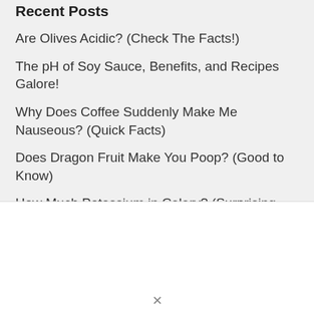Recent Posts
Are Olives Acidic? (Check The Facts!)
The pH of Soy Sauce, Benefits, and Recipes Galore!
Why Does Coffee Suddenly Make Me Nauseous? (Quick Facts)
Does Dragon Fruit Make You Poop? (Good to Know)
How Much Potassium in Celery? (Surprising Facts!)